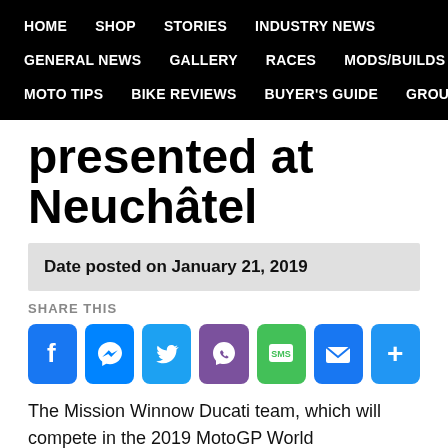HOME  SHOP  STORIES  INDUSTRY NEWS  GENERAL NEWS  GALLERY  RACES  MODS/BUILDS  MOTO TIPS  BIKE REVIEWS  BUYER'S GUIDE  GROUPS
presented at Neuchâtel
Date posted on January 21, 2019
SHARE THIS
[Figure (infographic): Social share buttons: Facebook, Messenger, Twitter, Viber, SMS, Email, More]
The Mission Winnow Ducati team, which will compete in the 2019 MotoGP World Championship, was presented today at